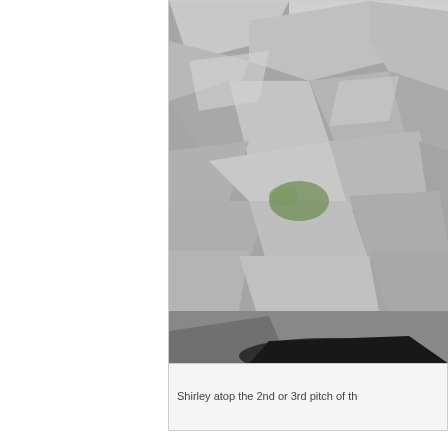[Figure (photo): Close-up photo of rough gray limestone rock surface with small patches of green moss, partially cropped. A black object (possibly a shoe/boot) is visible at the bottom edge.]
Shirley atop the 2nd or 3rd pitch of th
[Figure (photo): Close-up photo of rugged textured rock surface with brownish-orange and dark gray coloring, showing pocked and eroded limestone or similar rock.]